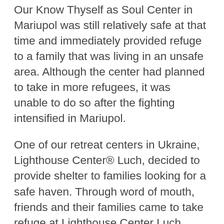Our Know Thyself as Soul Center in Mariupol was still relatively safe at that time and immediately provided refuge to a family that was living in an unsafe area. Although the center had planned to take in more refugees, it was unable to do so after the fighting intensified in Mariupol.
One of our retreat centers in Ukraine, Lighthouse Center® Luch, decided to provide shelter to families looking for a safe haven. Through word of mouth, friends and their families came to take refuge at Lighthouse Center Luch.
Our other retreat center in Ukraine, Lighthouse Center® Divine Coast also decided to provide shelter. However, at the beginning of March the surrounding region was closed off from